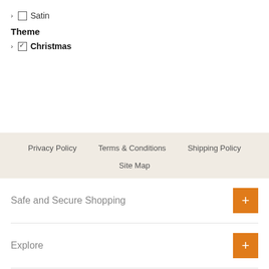Satin
Theme
Christmas
Privacy Policy   Terms & Conditions   Shipping Policy   Site Map
Safe and Secure Shopping
Explore
About Us